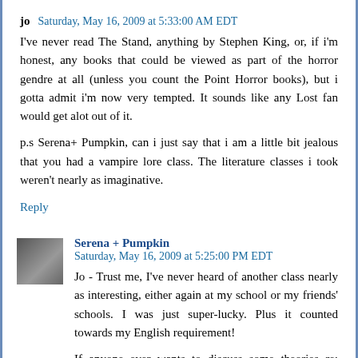jo  Saturday, May 16, 2009 at 5:33:00 AM EDT
I've never read The Stand, anything by Stephen King, or, if i'm honest, any books that could be viewed as part of the horror gendre at all (unless you count the Point Horror books), but i gotta admit i'm now very tempted. It sounds like any Lost fan would get alot out of it.
p.s Serena+ Pumpkin, can i just say that i am a little bit jealous that you had a vampire lore class. The literature classes i took weren't nearly as imaginative.
Reply
Serena + Pumpkin  Saturday, May 16, 2009 at 5:25:00 PM EDT
Jo - Trust me, I've never heard of another class nearly as interesting, either again at my school or my friends' schools. I was just super-lucky. Plus it counted towards my English requirement!
If anyone ever wants to discuss some theories re: vampire lore